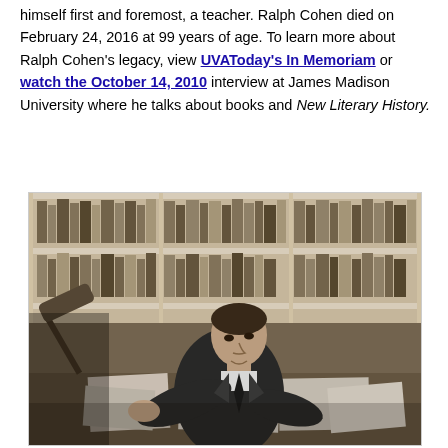himself first and foremost, a teacher. Ralph Cohen died on February 24, 2016 at 99 years of age. To learn more about Ralph Cohen's legacy, view UVAToday's In Memoriam or watch the October 14, 2010 interview at James Madison University where he talks about books and New Literary History.
[Figure (photo): Black and white photograph of a man in a suit sitting at a desk covered with papers, leaning forward and looking to his right. Behind him are large bookshelves filled with books. A desk lamp is visible to the left.]